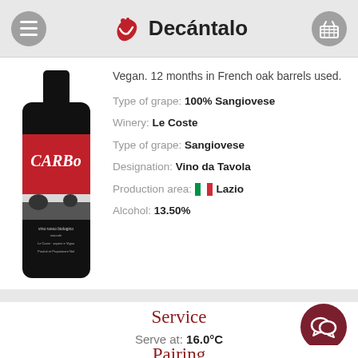Decántalo
Vegan. 12 months in French oak barrels used.
Type of grape: 100% Sangiovese
Winery: Le Coste
Type of grape: Sangiovese
Designation: Vino da Tavola
Production area: Lazio
Alcohol: 13.50%
[Figure (photo): Wine bottle with red label reading CARBo]
Service
Serve at: 16.0°C
Pairing